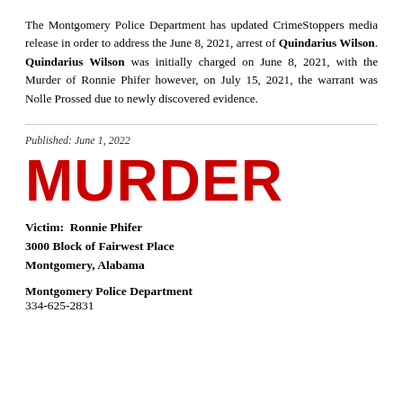The Montgomery Police Department has updated CrimeStoppers media release in order to address the June 8, 2021, arrest of Quindarius Wilson. Quindarius Wilson was initially charged on June 8, 2021, with the Murder of Ronnie Phifer however, on July 15, 2021, the warrant was Nolle Prossed due to newly discovered evidence.
Published: June 1, 2022
MURDER
Victim:  Ronnie Phifer
3000 Block of Fairwest Place
Montgomery, Alabama
Montgomery Police Department
334-625-2831